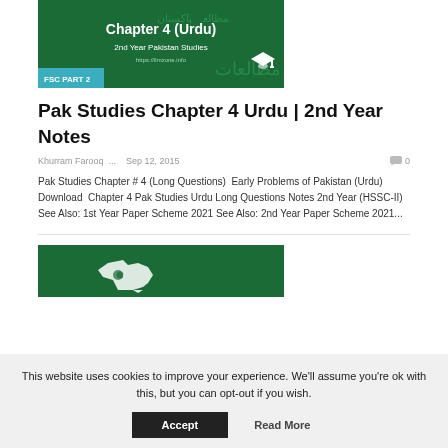[Figure (illustration): Green banner image with Urdu text, 'Chapter 4 (Urdu)', '2nd Year Pakistan Studies', 'FSC PART 2' badge, and graduation cap icon]
Pak Studies Chapter 4 Urdu | 2nd Year Notes
Khurram Farooq ...   Sep 12, 2015   💬 0
Pak Studies Chapter # 4 (Long Questions)  Early Problems of Pakistan (Urdu) Download  Chapter 4 Pak Studies Urdu Long Questions Notes 2nd Year (HSSC-II) See Also: 1st Year Paper Scheme 2021 See Also: 2nd Year Paper Scheme 2021...
[Figure (illustration): Green banner with white Pakistan map silhouette]
This website uses cookies to improve your experience. We'll assume you're ok with this, but you can opt-out if you wish.